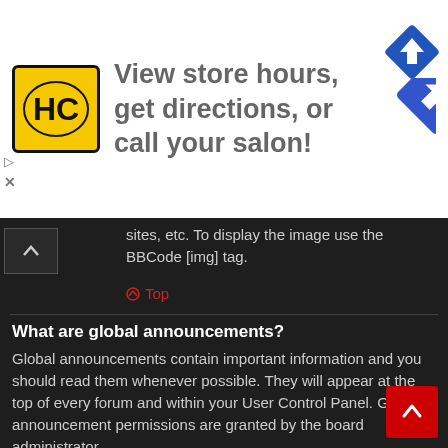[Figure (other): Advertisement banner: HC logo with yellow background, text 'View store hours, get directions, or call your salon!' and blue diamond navigation arrow on right]
sites, etc. To display the image use the BBCode [img] tag.
↑ Top
What are global announcements?
Global announcements contain important information and you should read them whenever possible. They will appear at the top of every forum and within your User Control Panel. Global announcement permissions are granted by the board administrator.
↑ Top
What are announcements?
Announcements often contain important information for the forum you are currently reading and you should read them whenever possible.